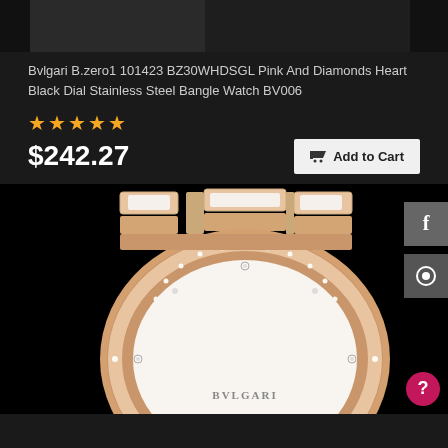[Figure (photo): Top portion of a dark background e-commerce product page showing a partial watch image at the top]
Bvlgari B.zero1 101423 BZ30WHDSGL Pink And Diamonds Heart Black Dial Stainless Steel Bangle Watch BV006
★★★★★
$242.27
Add to Cart
[Figure (photo): Close-up photo of a Bvlgari watch with rose gold and white ceramic bracelet, diamond-set bezel, and mother-of-pearl dial with diamond hour markers, on black background. BVLGARI text visible on dial.]